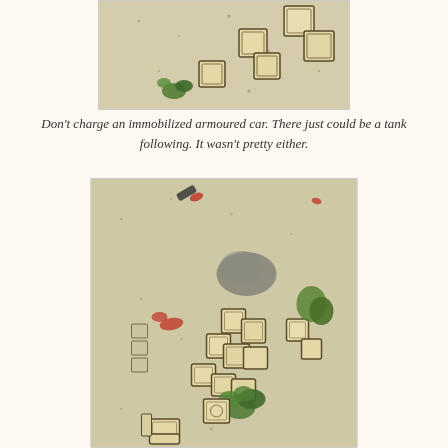[Figure (photo): Top-down view of a tabletop wargame showing tan/beige unit counters arranged diagonally on a light cloth playing surface, with small green terrain pieces visible in the lower left.]
Don’t charge an immobilized armoured car. There just could be a tank following. It wasn’t pretty either.
[Figure (photo): Top-down view of a larger tabletop wargame scene showing many tan/beige unit counters arranged in a column formation, with green foliage terrain pieces, grey rubble marker, and red casualty markers visible on a light cloth playing surface.]